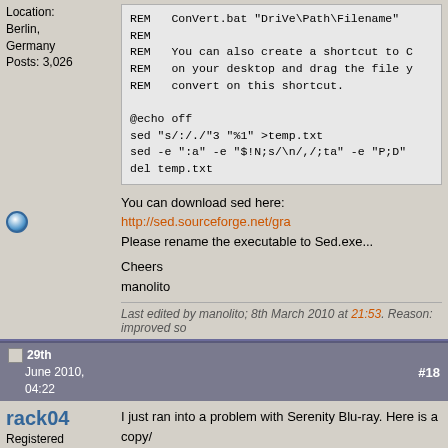Location: Berlin, Germany
Posts: 3,026
REM   ConVert.bat "DriVe\Path\Filename"
REM
REM   You can also create a shortcut to C
REM   on your desktop and drag the file y
REM   convert on this shortcut.

@echo off
sed "s/:/./"3 "%1" >temp.txt
sed -e ":a" -e "$!N;s/\n/,/;ta" -e "P;D"
del temp.txt
You can download sed here: http://sed.sourceforge.net/gra
Please rename the executable to Sed.exe...
Cheers
manolito
Last edited by manolito; 8th March 2010 at 21:53. Reason: improved so
29th June 2010, 04:22
#18
rack04
Registered User
I just ran into a problem with Serenity Blu-ray. Here is a copy/
of the chapter file extracted using eac3to: